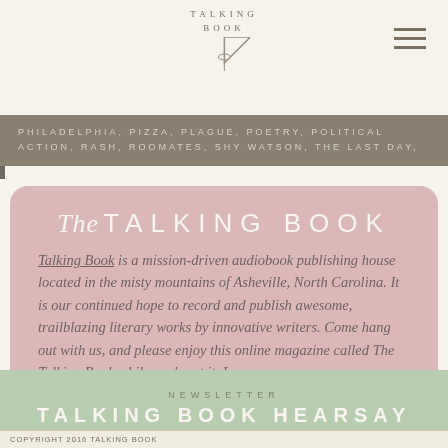TALKING BOOK
PHILADELPHIA, PIZZA, PLAGUE, POETRY, POLITICAL ACTION, RASH, ROOMATES, SHY WATSON, THE LAST DAY,
The TALKING BOOK
Talking Book is a mission-driven audiobook publishing house located in the misty mountains of Asheville, North Carolina. It is our continued hope to record and publish awesome, trailblazing literary works by innovative writers. Come hang out with us, and please enjoy this online magazine called The Talking Book while you're at it. Love ya.
NEWSLETTER
TALKING BOOK HEARSAY
COPYRIGHT 2016 TALKING BOOK